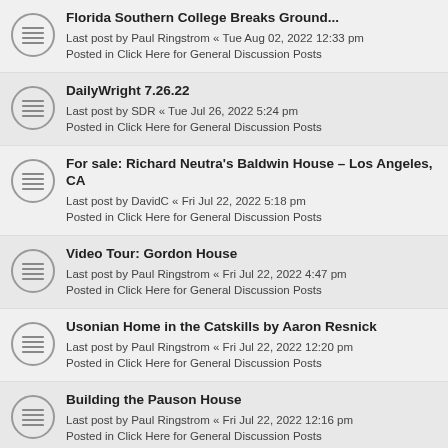Florida Southern College Breaks Ground...
Last post by Paul Ringstrom « Tue Aug 02, 2022 12:33 pm
Posted in Click Here for General Discussion Posts
DailyWright 7.26.22
Last post by SDR « Tue Jul 26, 2022 5:24 pm
Posted in Click Here for General Discussion Posts
For sale: Richard Neutra's Baldwin House - Los Angeles, CA
Last post by DavidC « Fri Jul 22, 2022 5:18 pm
Posted in Click Here for General Discussion Posts
Video Tour: Gordon House
Last post by Paul Ringstrom « Fri Jul 22, 2022 4:47 pm
Posted in Click Here for General Discussion Posts
Usonian Home in the Catskills by Aaron Resnick
Last post by Paul Ringstrom « Fri Jul 22, 2022 12:20 pm
Posted in Click Here for General Discussion Posts
Building the Pauson House
Last post by Paul Ringstrom « Fri Jul 22, 2022 12:16 pm
Posted in Click Here for General Discussion Posts
Talk (from 2018) by Mike Lilek: "Frank Lloyd